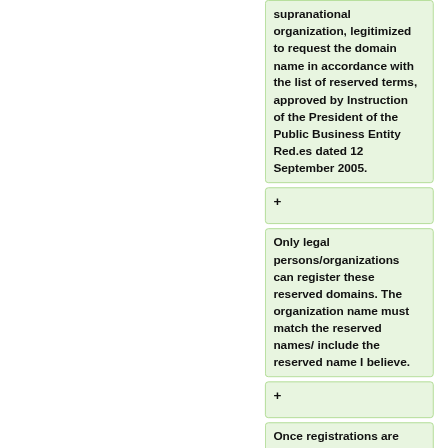supranational organization, legitimized to request the domain name in accordance with the list of reserved terms, approved by Instruction of the President of the Public Business Entity Red.es dated 12 September 2005.
+
Only legal persons/organizations can register these reserved domains. The organization name must match the reserved names/ include the reserved name I believe.
+
Once registrations are submitted, the order goes into 'PDOC'/